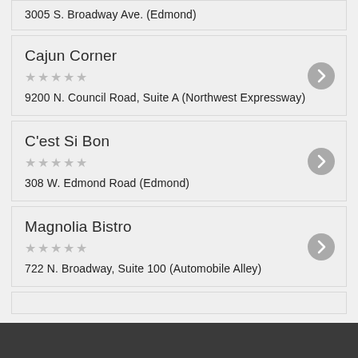3005 S. Broadway Ave. (Edmond)
Cajun Corner
★★★★★
9200 N. Council Road, Suite A (Northwest Expressway)
C'est Si Bon
★★★★★
308 W. Edmond Road (Edmond)
Magnolia Bistro
★★★★★
722 N. Broadway, Suite 100 (Automobile Alley)